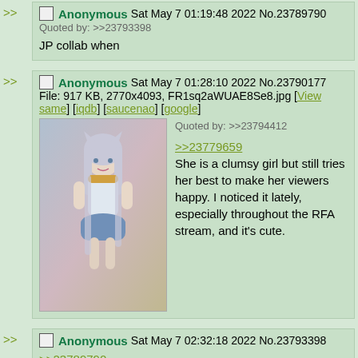>> Anonymous Sat May 7 01:19:48 2022 No.23789790
Quoted by: >>23793398
JP collab when
>> Anonymous Sat May 7 01:28:10 2022 No.23790177
File: 917 KB, 2770x4093, FR1sq2aWUAE8Se8.jpg [View same] [iqdb] [saucenao] [google]
Quoted by: >>23794412
>>23779659
She is a clumsy girl but still tries her best to make her viewers happy. I noticed it lately, especially throughout the RFA stream, and it's cute.
>> Anonymous Sat May 7 02:32:18 2022 No.23793398
>>23789790
Soon, she'll collab with lamy
>> Anonymous Sat May 7 02:50:05 2022 No.23794412
Quoted by: >>23801714